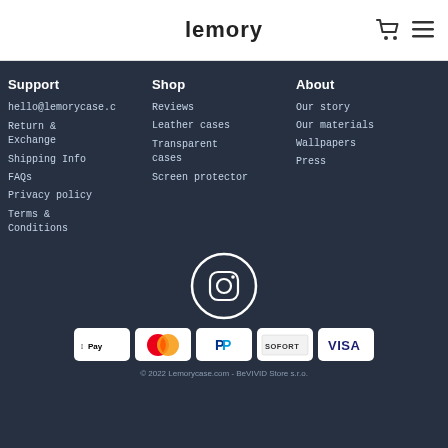lemory
Support
hello@lemorycase.c
Return & Exchange
Shipping Info
FAQs
Privacy policy
Terms & Conditions
Shop
Reviews
Leather cases
Transparent cases
Screen protector
About
Our story
Our materials
Wallpapers
Press
[Figure (logo): Instagram icon circle logo in white on dark background]
[Figure (infographic): Payment icons: Apple Pay, Mastercard, PayPal, SOFORT, VISA]
© 2022 Lemorycase.com - BeVIVID Store s.r.o.